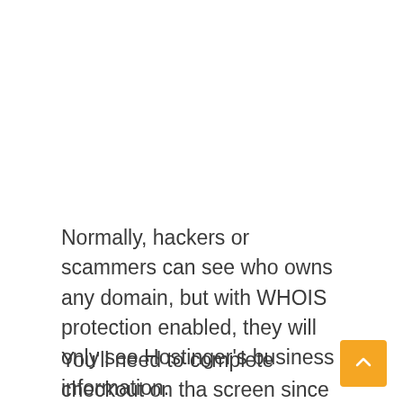Normally, hackers or scammers can see who owns any domain, but with WHOIS protection enabled, they will only see Hostinger's business information.
You'll need to complete checkout on tha screen since you're adding the paid WHO privacy add-on to your plan. But after that,